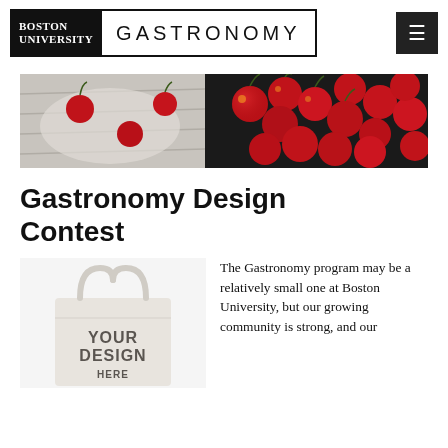BOSTON UNIVERSITY GASTRONOMY
[Figure (photo): Wide banner photo of fresh red cherries, some in a cloth bag on the left, loose pile on the right against dark background]
Gastronomy Design Contest
[Figure (photo): Canvas tote bag with text 'YOUR DESIGN HERE' printed on it]
The Gastronomy program may be a relatively small one at Boston University, but our growing community is strong, and our